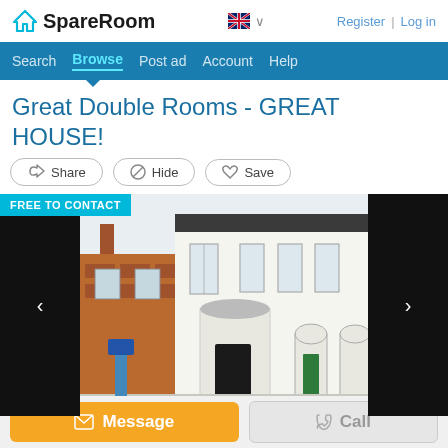SpareRoom — Register | Log in
Search  Browse  Post ad  Account  Help
Great Double Rooms - GREAT HOUSE!
Share
Hide
Save
[Figure (photo): Exterior photo of a white Victorian terraced house with black door and green neighbouring door, on a residential street. Left and right sides show black navigation panels with arrow controls. FREE TO CONTACT badge in top-left corner.]
Message
Call